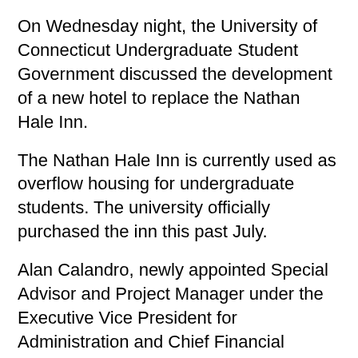On Wednesday night, the University of Connecticut Undergraduate Student Government discussed the development of a new hotel to replace the Nathan Hale Inn.
The Nathan Hale Inn is currently used as overflow housing for undergraduate students. The university officially purchased the inn this past July.
Alan Calandro, newly appointed Special Advisor and Project Manager under the Executive Vice President for Administration and Chief Financial Officer, discussed the recent proposal with the USG.
“The Nathan Hale was bought by UConn over the summer and it has 50% students now and will be moved over to a full dormitory at some point, that point being when another hotel opens up,” said Calandro.
The Nathan Hale Inn is capable of housing 280 students